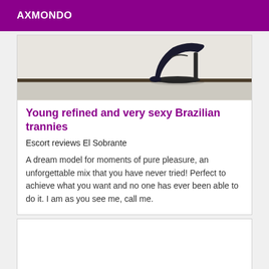AXMONDO
[Figure (photo): Partial view of a person wearing black high-heel shoes, standing on a light-colored floor with a dark baseboard/stripe visible.]
Young refined and very sexy Brazilian trannies
Escort reviews El Sobrante
A dream model for moments of pure pleasure, an unforgettable mix that you have never tried! Perfect to achieve what you want and no one has ever been able to do it. I am as you see me, call me.